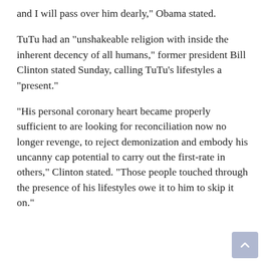and I will pass over him dearly," Obama stated.
TuTu had an "unshakeable religion with inside the inherent decency of all humans," former president Bill Clinton stated Sunday, calling TuTu's lifestyles a "present."
"His personal coronary heart became properly sufficient to are looking for reconciliation now no longer revenge, to reject demonization and embody his uncanny cap potential to carry out the first-rate in others," Clinton stated. "Those people touched through the presence of his lifestyles owe it to him to skip it on."